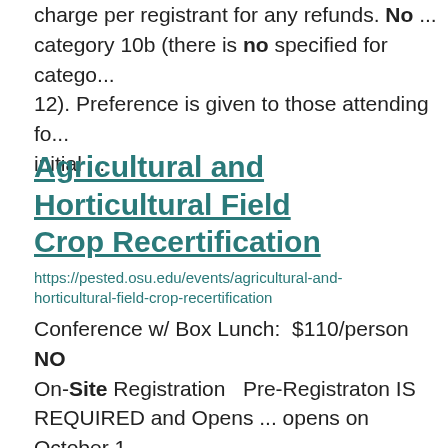charge per registrant for any refunds. No ... category 10b (there is no specified for catego... 12). Preference is given to those attending fo... initial ...
Agricultural and Horticultural Field Crop Recertification
https://pested.osu.edu/events/agricultural-and-horticultural-field-crop-recertification
Conference w/ Box Lunch: $110/person NO On-Site Registration Pre-Registraton IS REQUIRED and Opens ... opens on October 1 Walcom Registration W-9 On-Site Registrati... will not be offered in 2023. NO WALK-INS ... Michigan Pennsylvania West Virginia Certifie...